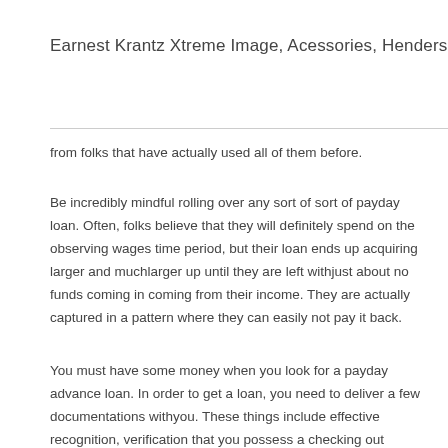Earnest Krantz Xtreme Image, Acessories, Henderson
from folks that have actually used all of them before.
Be incredibly mindful rolling over any sort of sort of payday loan. Often, folks believe that they will definitely spend on the observing wages time period, but their loan ends up acquiring larger and muchlarger up until they are left withjust about no funds coming in coming from their income. They are actually captured in a pattern where they can easily not pay it back.
You must have some money when you look for a payday advance loan. In order to get a loan, you need to deliver a few documentations withyou. These things include effective recognition, verification that you possess a checking out